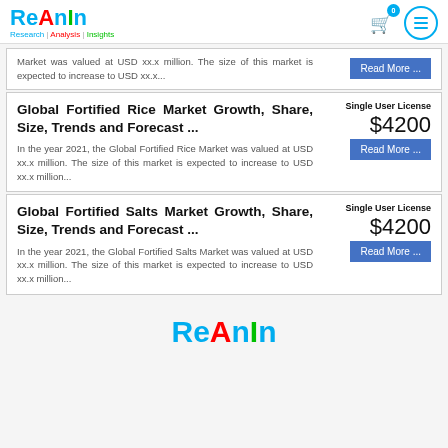ReAnIn Research | Analysis | Insights
Market was valued at USD xx.x million. The size of this market is expected to increase to USD xx.x...
Global Fortified Rice Market Growth, Share, Size, Trends and Forecast ...
Single User License $4200
In the year 2021, the Global Fortified Rice Market was valued at USD xx.x million. The size of this market is expected to increase to USD xx.x million...
Global Fortified Salts Market Growth, Share, Size, Trends and Forecast ...
Single User License $4200
In the year 2021, the Global Fortified Salts Market was valued at USD xx.x million. The size of this market is expected to increase to USD xx.x million...
ReAnIn